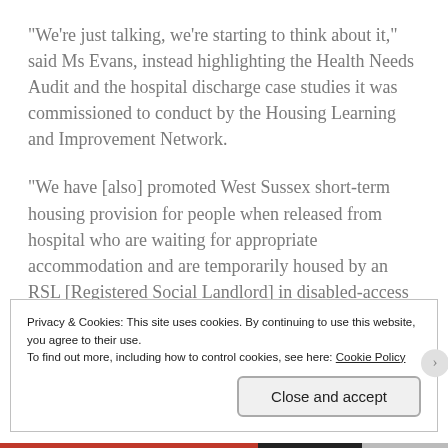“We’re just talking, we’re starting to think about it,” said Ms Evans, instead highlighting the Health Needs Audit and the hospital discharge case studies it was commissioned to conduct by the Housing Learning and Improvement Network.
“We have [also] promoted West Sussex short-term housing provision for people when released from hospital who are waiting for appropriate accommodation and are temporarily housed by an RSL [Registered Social Landlord] in disabled-access flats. We were also involved in evidencing and getting set up an innovative
Privacy & Cookies: This site uses cookies. By continuing to use this website, you agree to their use.
To find out more, including how to control cookies, see here: Cookie Policy
Close and accept